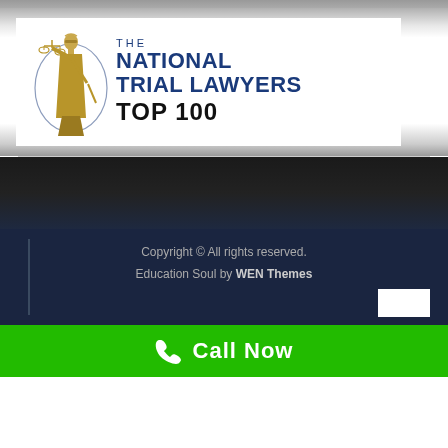[Figure (logo): The National Trial Lawyers Top 100 logo featuring Lady Justice figure holding scales and sword within a circle, with blue text 'THE NATIONAL TRIAL LAWYERS' and bold black 'TOP 100']
Copyright © All rights reserved. Education Soul by WEN Themes
Call Now